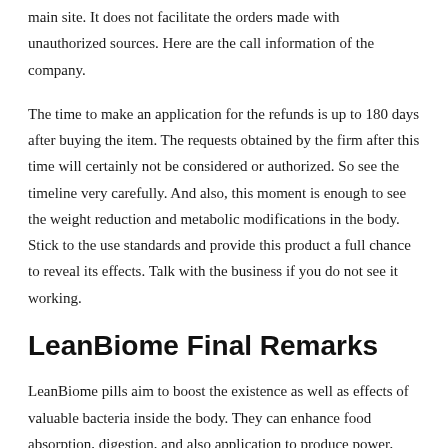main site. It does not facilitate the orders made with unauthorized sources. Here are the call information of the company.
The time to make an application for the refunds is up to 180 days after buying the item. The requests obtained by the firm after this time will certainly not be considered or authorized. So see the timeline very carefully. And also, this moment is enough to see the weight reduction and metabolic modifications in the body. Stick to the use standards and provide this product a full chance to reveal its effects. Talk with the business if you do not see it working.
LeanBiome Final Remarks
LeanBiome pills aim to boost the existence as well as effects of valuable bacteria inside the body. They can enhance food absorption, digestion, and also application to produce power, without fat buildup to make the body overweight. This is a blend of probiotic and also prebiotic pressures, and also every among them has a significant effect of its efficacy.